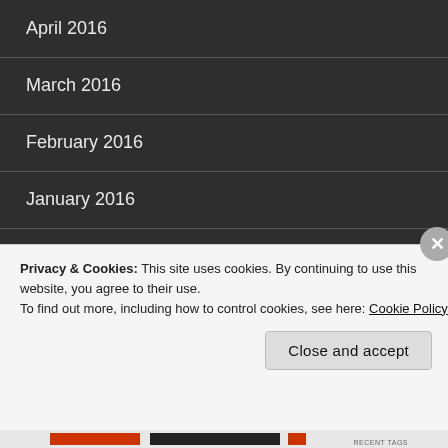April 2016
March 2016
February 2016
January 2016
December 2015
November 2015
October 2015 (partial)
Privacy & Cookies: This site uses cookies. By continuing to use this website, you agree to their use.
To find out more, including how to control cookies, see here: Cookie Policy
Close and accept